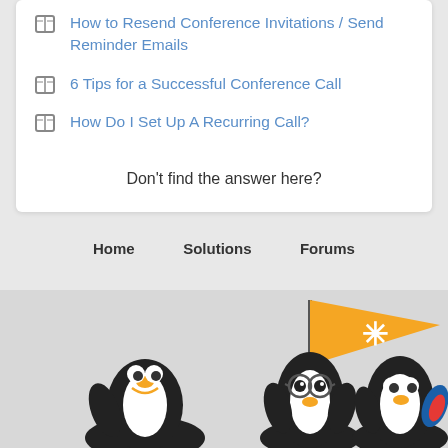How to Resend Conference Invitations / Send Reminder Emails
6 Tips for a Successful Conference Call
How Do I Set Up A Recurring Call?
Don't find the answer here?
Home   Solutions   Forums
[Figure (illustration): Three cartoon penguin mascots with an orange flag containing a snowflake/asterisk logo]